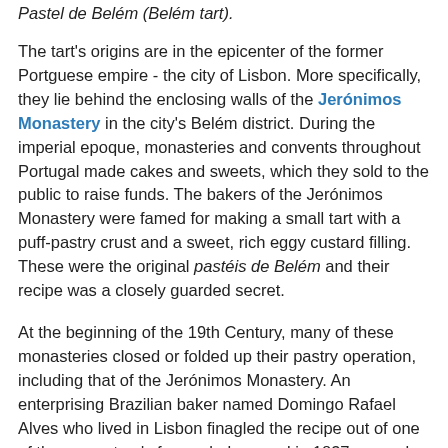Pastel de Belém (Belém tart).
The tart's origins are in the epicenter of the former Portguese empire - the city of Lisbon. More specifically, they lie behind the enclosing walls of the Jerónimos Monastery in the city's Belém district. During the imperial epoque, monasteries and convents throughout Portugal made cakes and sweets, which they sold to the public to raise funds. The bakers of the Jerónimos Monastery were famed for making a small tart with a puff-pastry crust and a sweet, rich eggy custard filling. These were the original pastéis de Belém and their recipe was a closely guarded secret.
At the beginning of the 19th Century, many of these monasteries closed or folded up their pastry operation, including that of the Jerónimos Monastery. An enterprising Brazilian baker named Domingo Rafael Alves who lived in Lisbon finagled the recipe out of one of the monastery's former bakers and in 1837 opened a pastry shop called Antiga Confeitaria de Belém. Today the shop is owned by descendents of Sr. Alves and still specializes in the tarts that made it famous almost two hundred years ago and that have